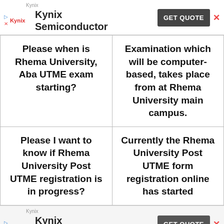[Figure (other): Kynix Semiconductor advertisement banner with logo, GET QUOTE button]
| Please when is Rhema University, Aba UTME exam starting? | Examination which will be computer-based, takes place from at Rhema University main campus. |
| Please I want to know if Rhema University Post UTME registration is in progress? | Currently the Rhema University Post UTME form registration online has started |
[Figure (other): Kynix Semiconductor advertisement banner with logo, GET QUOTE button]
University post form
form closing gate is